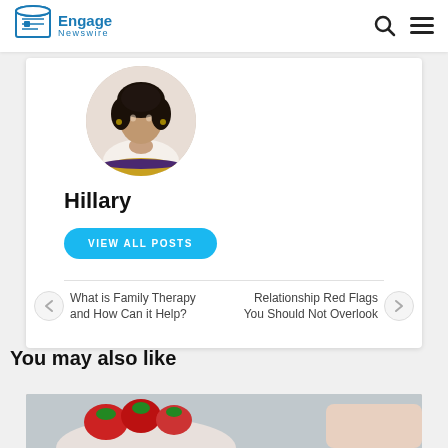Engage Newswire
[Figure (photo): Circular profile photo of a woman with curly hair wearing a striped sweater]
Hillary
VIEW ALL POSTS
What is Family Therapy and How Can it Help?
Relationship Red Flags You Should Not Overlook
You may also like
[Figure (photo): Partial image of strawberries on a plate]